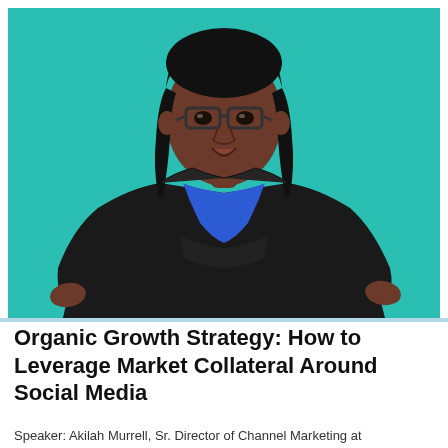[Figure (photo): Professional headshot of a Black woman with straight hair and glasses, wearing a black blazer over a blue top, posed with one hand on hip, against a teal background.]
Organic Growth Strategy: How to Leverage Market Collateral Around Social Media
Speaker: Akilah Murrell, Sr. Director of Channel Marketing at